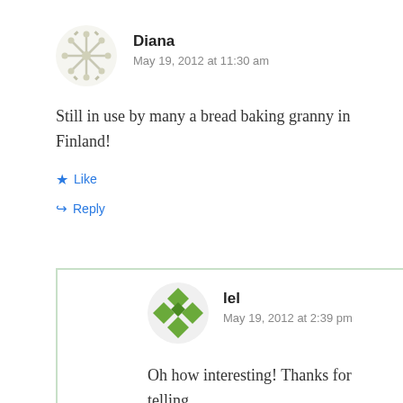Diana
May 19, 2012 at 11:30 am
Still in use by many a bread baking granny in Finland!
Like
Reply
lel
May 19, 2012 at 2:39 pm
Oh how interesting! Thanks for telling